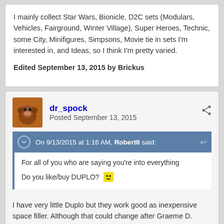I mainly collect Star Wars, Bionicle, D2C sets (Modulars, Vehicles, Fairground, Winter Village), Super Heroes, Technic, some City, Minifigures, Simpsons, Movie tie in sets I'm interested in, and Ideas, so I think I'm pretty varied.
Edited September 13, 2015 by Brickus
dr_spock
Posted September 13, 2015
On 9/13/2015 at 1:16 AM, Robert8 said:
For all of you who are saying you're into everything
Do you like/buy DUPLO?
I have very little Duplo but they work good as inexpensive space filler. Although that could change after Graeme D. designed and built the ToroLUG bar with them...
[Figure (photo): Dark strip at bottom suggesting a photo or image preview of LEGO builds]